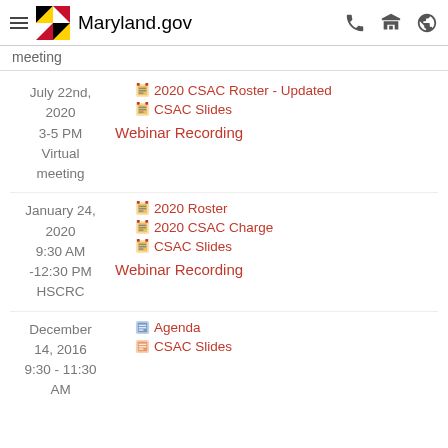Maryland.gov
meeting
July 22nd, 2020
3-5 PM
Virtual meeting
2020 CSAC Roster - Updated
CSAC Slides
Webinar Recording
January 24, 2020
9:30 AM -12:30 PM
HSCRC
2020 Roster
2020 CSAC Charge
CSAC Slides
Webinar Recording
December 14, 2016
9:30 - 11:30 AM
Agenda
CSAC Slides